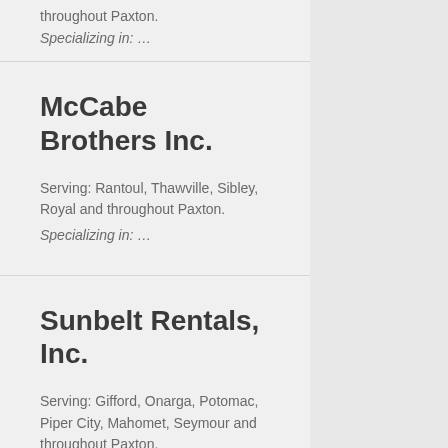throughout Paxton.
Specializing in: …
McCabe Brothers Inc.
Serving: Rantoul, Thawville, Sibley, Royal and throughout Paxton.
Specializing in: …
Sunbelt Rentals, Inc.
Serving: Gifford, Onarga, Potomac, Piper City, Mahomet, Seymour and throughout Paxton.